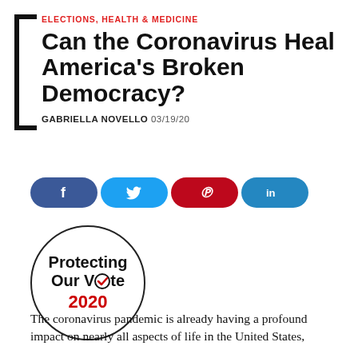ELECTIONS, HEALTH & MEDICINE
Can the Coronavirus Heal America's Broken Democracy?
GABRIELLA NOVELLO 03/19/20
[Figure (infographic): Social media sharing buttons: Facebook (dark blue), Twitter (light blue), Pinterest (red), LinkedIn (blue)]
[Figure (logo): Circular logo reading 'Protecting Our Vote 2020' with a checkmark in the 'o' of Vote, year in red]
The coronavirus pandemic is already having a profound impact on nearly all aspects of life in the United States,